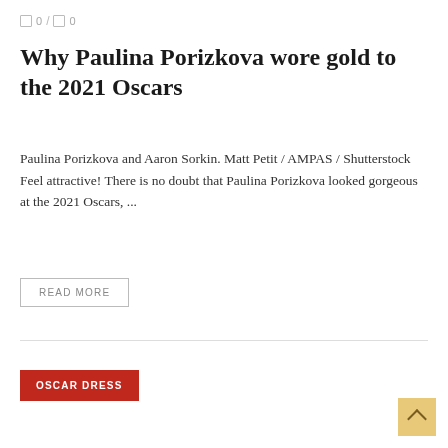□ 0 / □ 0
Why Paulina Porizkova wore gold to the 2021 Oscars
Paulina Porizkova and Aaron Sorkin. Matt Petit / AMPAS / Shutterstock Feel attractive! There is no doubt that Paulina Porizkova looked gorgeous at the 2021 Oscars, ...
READ MORE
OSCAR DRESS